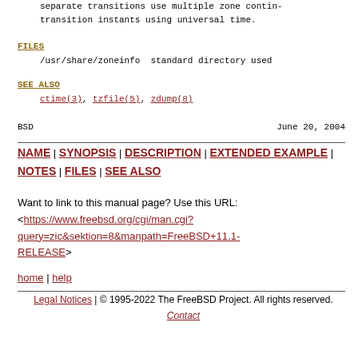separate transitions use multiple zone contin- transition instants using universal time.
FILES
/usr/share/zoneinfo  standard directory used
SEE ALSO
ctime(3), tzfile(5), zdump(8)
BSD                                    June 20, 2004
NAME | SYNOPSIS | DESCRIPTION | EXTENDED EXAMPLE | NOTES | FILES | SEE ALSO
Want to link to this manual page? Use this URL:
<https://www.freebsd.org/cgi/man.cgi?query=zic&sektion=8&manpath=FreeBSD+11.1-RELEASE>
home | help
Legal Notices | © 1995-2022 The FreeBSD Project. All rights reserved.
Contact